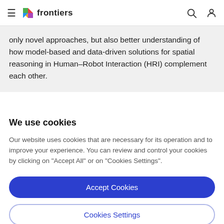frontiers
only novel approaches, but also better understanding of how model-based and data-driven solutions for spatial reasoning in Human–Robot Interaction (HRI) complement each other.
We use cookies
Our website uses cookies that are necessary for its operation and to improve your experience. You can review and control your cookies by clicking on "Accept All" or on "Cookies Settings".
Accept Cookies
Cookies Settings